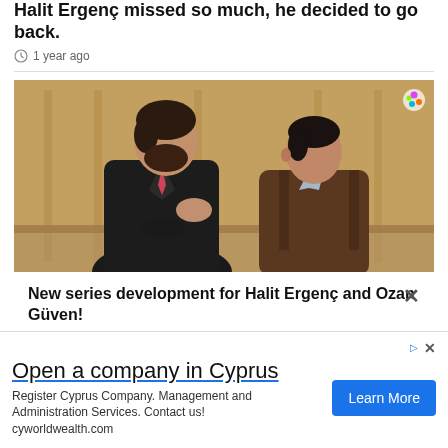Halit Ergenç missed so much, he decided to go back.
1 year ago
[Figure (photo): Two men sitting together in conversation; one in a black suit with a pink tie, the other in a brown leather jacket and light blue shirt, set against a wooden interior background.]
New series development for Halit Ergenç and Ozan Güven!
Open a company in Cyprus
Register Cyprus Company. Management and Administration Services. Contact us! cyworldwealth.com
Learn More